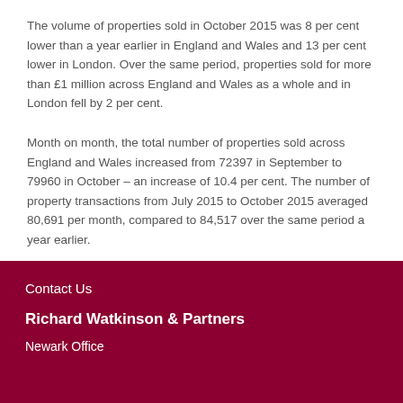The volume of properties sold in October 2015 was 8 per cent lower than a year earlier in England and Wales and 13 per cent lower in London. Over the same period, properties sold for more than £1 million across England and Wales as a whole and in London fell by 2 per cent.
Month on month, the total number of properties sold across England and Wales increased from 72397 in September to 79960 in October – an increase of 10.4 per cent. The number of property transactions from July 2015 to October 2015 averaged 80,691 per month, compared to 84,517 over the same period a year earlier.
Contact Us
Richard Watkinson & Partners
Newark Office